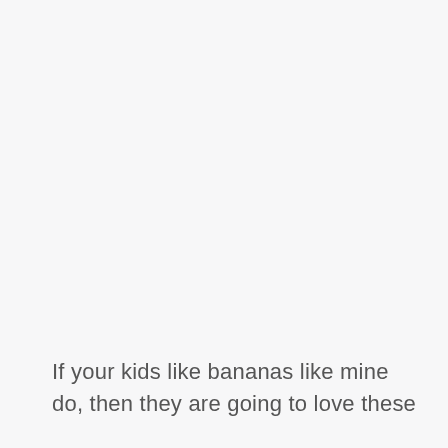If your kids like bananas like mine do, then they are going to love these